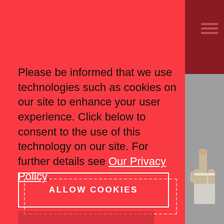Please be informed that we use technologies such as cookies on our site to enhance your user experience. Click below to consent to the use of this technology on our site. For further details see Our Privacy Policy.
ALLOW COOKIES
[Figure (logo): MK logo with globe icon on a red/salmon background]